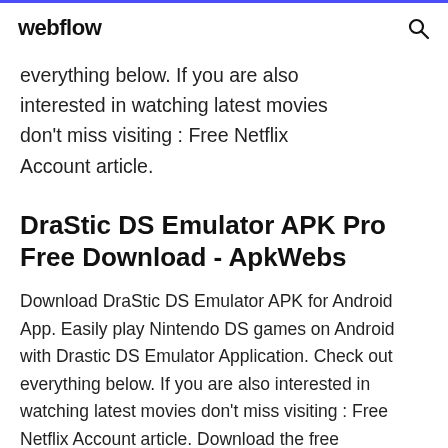webflow
everything below. If you are also interested in watching latest movies don't miss visiting : Free Netflix Account article.
DraStic DS Emulator APK Pro Free Download - ApkWebs
Download DraStic DS Emulator APK for Android App. Easily play Nintendo DS games on Android with Drastic DS Emulator Application. Check out everything below. If you are also interested in watching latest movies don't miss visiting : Free Netflix Account article. Download the free